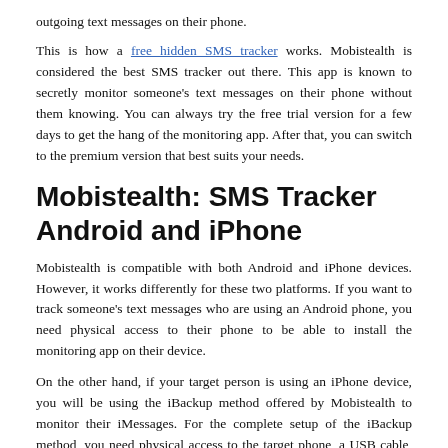outgoing text messages on their phone.
This is how a free hidden SMS tracker works. Mobistealth is considered the best SMS tracker out there. This app is known to secretly monitor someone's text messages on their phone without them knowing. You can always try the free trial version for a few days to get the hang of the monitoring app. After that, you can switch to the premium version that best suits your needs.
Mobistealth: SMS Tracker Android and iPhone
Mobistealth is compatible with both Android and iPhone devices. However, it works differently for these two platforms. If you want to track someone's text messages who are using an Android phone, you need physical access to their phone to be able to install the monitoring app on their device.
On the other hand, if your target person is using an iPhone device, you will be using the iBackup method offered by Mobistealth to monitor their iMessages. For the complete setup of the iBackup method, you need physical access to the target phone, a USB cable, your own Mac or PC device, as well as a stable internet connection.